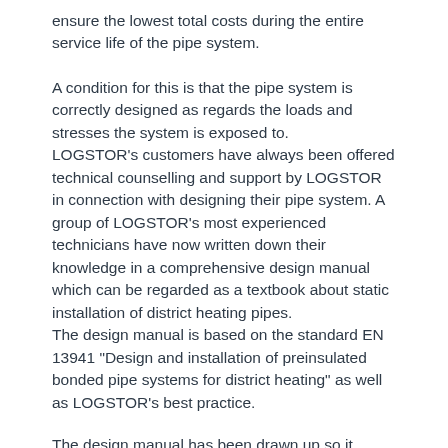ensure the lowest total costs during the entire service life of the pipe system.
A condition for this is that the pipe system is correctly designed as regards the loads and stresses the system is exposed to. LOGSTOR's customers have always been offered technical counselling and support by LOGSTOR in connection with designing their pipe system. A group of LOGSTOR's most experienced technicians have now written down their knowledge in a comprehensive design manual which can be regarded as a textbook about static installation of district heating pipes. The design manual is based on the standard EN 13941 "Design and installation of preinsulated bonded pipe systems for district heating" as well as LOGSTOR's best practice.
The design manual has been drawn up so it should be easy to use and at the same time cover the complex technical requirements in EN 13941.